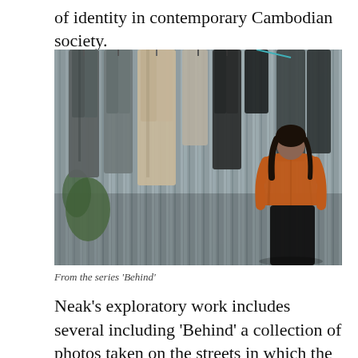of identity in contemporary Cambodian society.
[Figure (photo): A woman in an orange shirt stands with her back to the camera, facing a corrugated metal fence with various items of clothing hanging on it. The clothes include grey, black, and light-coloured trousers and shirts. The setting appears to be an outdoor urban area.]
From the series 'Behind'
Neak's exploratory work includes several including 'Behind' a collection of photos taken on the streets in which the subject practice